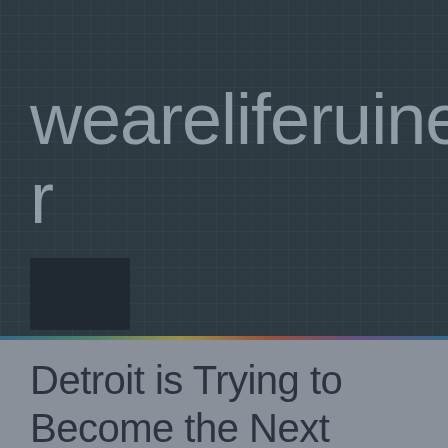weareliferuiner
Detroit is Trying to Become the Next Major